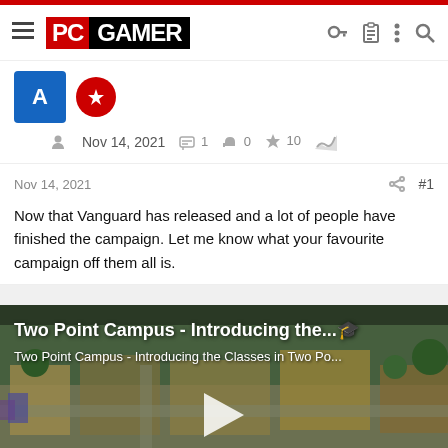PC GAMER
Nov 14, 2021  1  0  10
Nov 14, 2021  #1
Now that Vanguard has released and a lot of people have finished the campaign. Let me know what your favourite campaign off them all is.
[Figure (screenshot): Video thumbnail for 'Two Point Campus - Introducing the Classes in Two Po...' showing a top-down view of a campus game with colorful buildings and paths. A play button is visible in the center.]
Two Point Campus - Introducing the...
Two Point Campus - Introducing the Classes in Two Po...